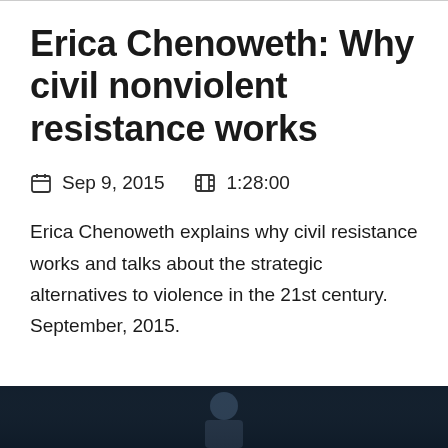Erica Chenoweth: Why civil nonviolent resistance works
Sep 9, 2015   1:28:00
Erica Chenoweth explains why civil resistance works and talks about the strategic alternatives to violence in the 21st century. September, 2015.
[Figure (photo): Thumbnail image of video featuring a speaker, dark background]